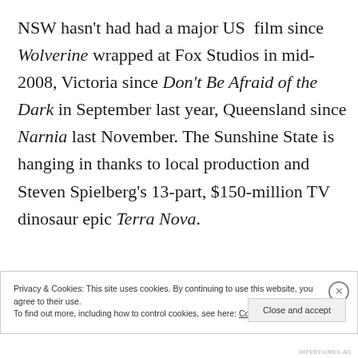NSW hasn't had had a major US film since Wolverine wrapped at Fox Studios in mid-2008, Victoria since Don't Be Afraid of the Dark in September last year, Queensland since Narnia last November. The Sunshine State is hanging in thanks to local production and Steven Spielberg's 13-part, $150-million TV dinosaur epic Terra Nova.
Privacy & Cookies: This site uses cookies. By continuing to use this website, you agree to their use. To find out more, including how to control cookies, see here: Cookie Policy